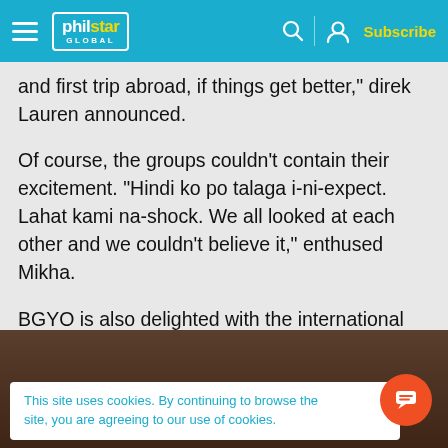philstar GLOBAL | Subscribe
and first trip abroad, if things get better,” direk Lauren announced.
Of course, the groups couldn’t contain their excitement. “Hindi ko po talaga i-ni-expect. Lahat kami na-shock. We all looked at each other and we couldn’t believe it,” enthused Mikha.
BGYO is also delighted with the international guesting which is one of its dream goals as a band.
[Figure (screenshot): Partial image of people at the bottom of the page, partially obscured by cookie banner]
This site uses cookies. By continuing to browse the site, you are agreeing to our use of cookies.